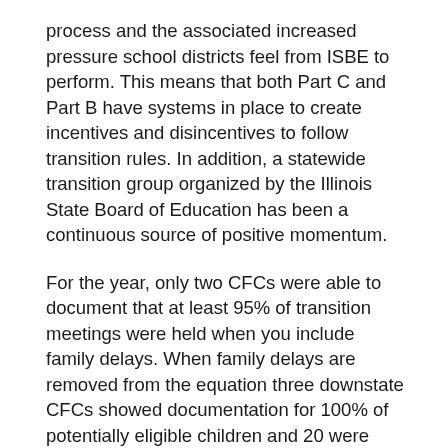process and the associated increased pressure school districts feel from ISBE to perform. This means that both Part C and Part B have systems in place to create incentives and disincentives to follow transition rules. In addition, a statewide transition group organized by the Illinois State Board of Education has been a continuous source of positive momentum.
For the year, only two CFCs were able to document that at least 95% of transition meetings were held when you include family delays. When family delays are removed from the equation three downstate CFCs showed documentation for 100% of potentially eligible children and 20 were over 95%. Of the four larger geographic groupings, only Chicago fell below 95%. They came in at 93.3% and they were the only large area to perform worse than last year.